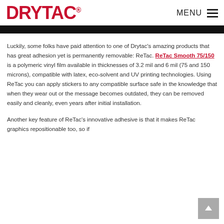DRYTAC  MENU
Luckily, some folks have paid attention to one of Drytac's amazing products that has great adhesion yet is permanently removable: ReTac. ReTac Smooth 75/150 is a polymeric vinyl film available in thicknesses of 3.2 mil and 6 mil (75 and 150 microns), compatible with latex, eco-solvent and UV printing technologies. Using ReTac you can apply stickers to any compatible surface safe in the knowledge that when they wear out or the message becomes outdated, they can be removed easily and cleanly, even years after initial installation.
Another key feature of ReTac's innovative adhesive is that it makes ReTac graphics repositionable too, so if